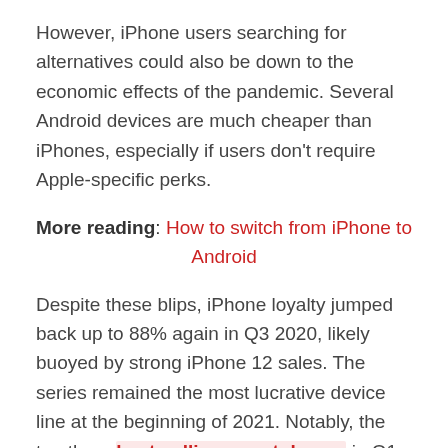However, iPhone users searching for alternatives could also be down to the economic effects of the pandemic. Several Android devices are much cheaper than iPhones, especially if users don't require Apple-specific perks.
More reading: How to switch from iPhone to Android
Despite these blips, iPhone loyalty jumped back up to 88% again in Q3 2020, likely buoyed by strong iPhone 12 sales. The series remained the most lucrative device line at the beginning of 2021. Notably, the top three best-selling smartphones in Q1 2021 were iPhone 12 devices.